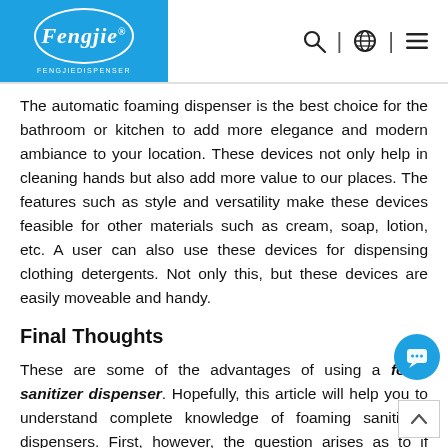Fengjie [logo with icons: search, globe, menu]
The automatic foaming dispenser is the best choice for the bathroom or kitchen to add more elegance and modern ambiance to your location. These devices not only help in cleaning hands but also add more value to our places. The features such as style and versatility make these devices feasible for other materials such as cream, soap, lotion, etc. A user can also use these devices for dispensing clothing detergents. Not only this, but these devices are easily moveable and handy.
Final Thoughts
These are some of the advantages of using a foam sanitizer dispenser. Hopefully, this article will help you to understand complete knowledge of foaming sanitizing dispensers. First, however, the question arises as to if these dispensers are worth it? Yes, of course, the foaming sanitizing dispensers worth it. It is because of their ability to maintain individual...